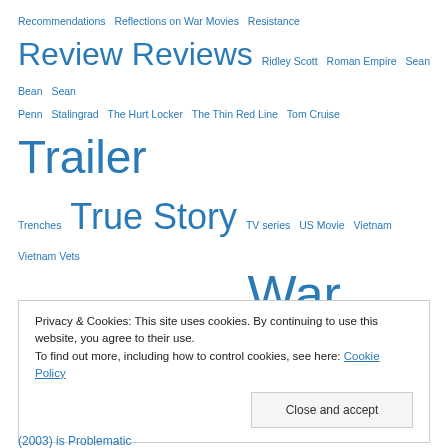Recommendations Reflections on War Movies Resistance Review Reviews Ridley Scott Roman Empire Sean Bean Sean Penn Stalingrad The Hurt Locker The Thin Red Line Tom Cruise Trailer Trenches True Story TV series US Movie Vietnam Vietnam Vets Vietnam War War and Journalism War Crime War Movie War Movies Watchalong When Trumpets Fade Women in War Movies Woody Harrelson WWI WWII
Privacy & Cookies: This site uses cookies. By continuing to use this website, you agree to their use. To find out more, including how to control cookies, see here: Cookie Policy
Close and accept
(2003) is Problematic